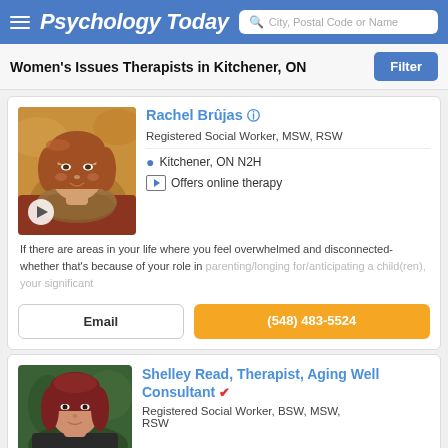Psychology Today | City, Postal Code or Name
Women's Issues Therapists in Kitchener, ON
[Figure (photo): Photo of Rachel Brûjas, a young woman with long reddish-brown hair wearing a scarf, with a play button overlay]
Rachel Brûjas
Registered Social Worker, MSW, RSW
Kitchener, ON N2H
Offers online therapy
If there are areas in your life where you feel overwhelmed and disconnected- whether that's because of your role in parenting/longing for/anticipating a child(ren), your significant
Email | (548) 483-5524
[Figure (photo): Photo of Shelley Read, a woman with dark red hair against a green background]
Shelley Read, Therapist, Aging Well Consultant
Registered Social Worker, BSW, MSW, RSW